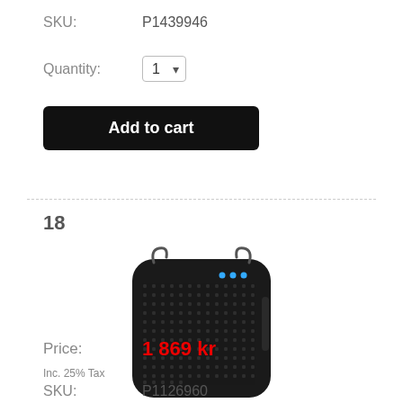SKU: P1439946
Quantity: 1
Add to cart
18
[Figure (photo): Black portable speaker/voice amplifier with mesh grille, two hanging hooks at top, and LED indicator lights on front panel.]
Price: 1 869 kr
Inc. 25% Tax
SKU: P1126960